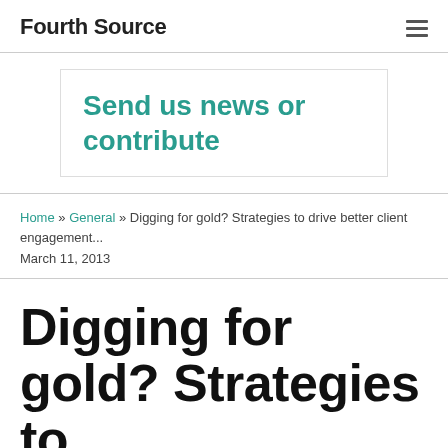Fourth Source
Send us news or contribute
Home » General » Digging for gold? Strategies to drive better client engagement...
March 11, 2013
Digging for gold? Strategies to